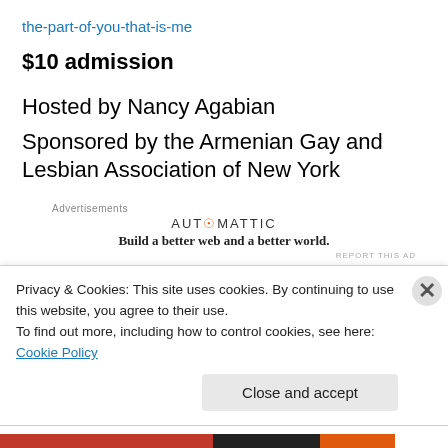the-part-of-you-that-is-me
$10 admission
Hosted by Nancy Agabian
Sponsored by the Armenian Gay and Lesbian Association of New York
[Figure (other): Automattic advertisement: 'Build a better web and a better world.']
For more information
Privacy & Cookies: This site uses cookies. By continuing to use this website, you agree to their use. To find out more, including how to control cookies, see here: Cookie Policy